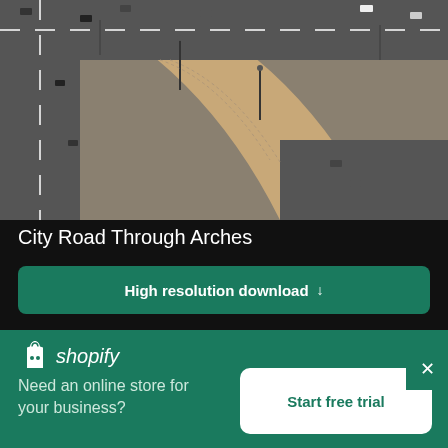[Figure (photo): Aerial view of a city road interchange with cars and street lamps, curved roads and walkways]
City Road Through Arches
High resolution download ↓
[Figure (photo): Street-level view of old brick buildings along a city road with overcast sky]
[Figure (logo): Shopify logo with bag icon and text 'shopify']
Need an online store for your business?
Start free trial